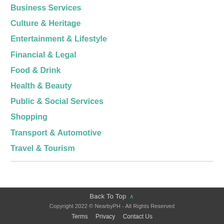Business Services
Culture & Heritage
Entertainment & Lifestyle
Financial & Legal
Food & Drink
Health & Beauty
Public & Social Services
Shopping
Transport & Automotive
Travel & Tourism
Back To Top ^ Copyright 2022 © NearbyPH - All Rights Reserved Terms Privacy Contact Us